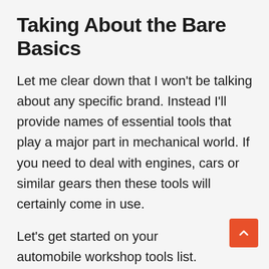Taking About the Bare Basics
Let me clear down that I won't be talking about any specific brand. Instead I'll provide names of essential tools that play a major part in mechanical world. If you need to deal with engines, cars or similar gears then these tools will certainly come in use.
Let's get started on your automobile workshop tools list.